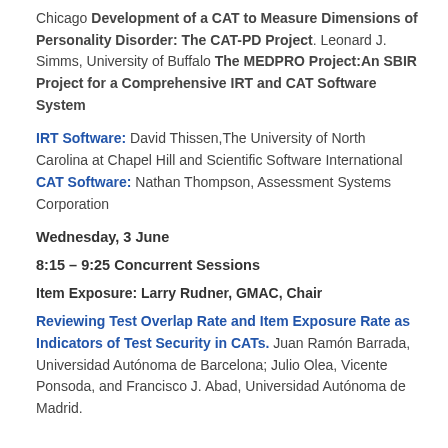Chicago Development of a CAT to Measure Dimensions of Personality Disorder: The CAT-PD Project. Leonard J. Simms, University of Buffalo The MEDPRO Project:An SBIR Project for a Comprehensive IRT and CAT Software System
IRT Software: David Thissen,The University of North Carolina at Chapel Hill and Scientific Software International CAT Software: Nathan Thompson, Assessment Systems Corporation
Wednesday, 3 June
8:15 – 9:25 Concurrent Sessions
Item Exposure: Larry Rudner, GMAC, Chair
Reviewing Test Overlap Rate and Item Exposure Rate as Indicators of Test Security in CATs. Juan Ramón Barrada, Universidad Autónoma de Barcelona; Julio Olea, Vicente Ponsoda, and Francisco J. Abad, Universidad Autónoma de Madrid.